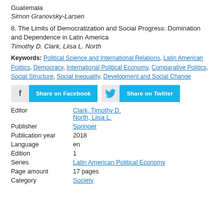Guatemala
Simon Granovsky-Larsen
8. The Limits of Democratization and Social Progress: Domination and Dependence in Latin America
Timothy D. Clark, Liisa L. North
Keywords: Political Science and International Relations, Latin American Politics, Democracy, International Political Economy, Comparative Politics, Social Structure, Social Inequality, Development and Social Change
[Figure (other): Share on Facebook and Share on Twitter buttons]
| Editor | Clark, Timothy D.
North, Liisa L. |
| Publisher | Springer |
| Publication year | 2018 |
| Language | en |
| Edition | 1 |
| Series | Latin American Political Economy |
| Page amount | 17 pages |
| Category | Society |